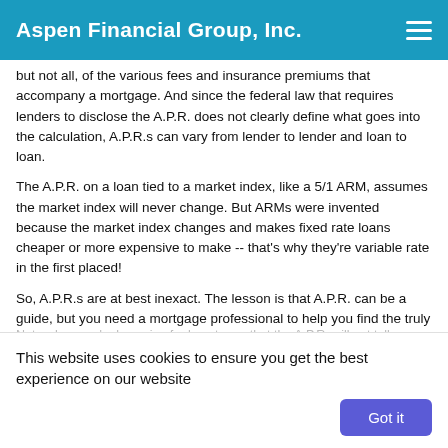Aspen Financial Group, Inc.
but not all, of the various fees and insurance premiums that accompany a mortgage. And since the federal law that requires lenders to disclose the A.P.R. does not clearly define what goes into the calculation, A.P.R.s can vary from lender to lender and loan to loan.
The A.P.R. on a loan tied to a market index, like a 5/1 ARM, assumes the market index will never change. But ARMs were invented because the market index changes and makes fixed rate loans cheaper or more expensive to make -- that's why they're variable rate in the first placed!
So, A.P.R.s are at best inexact. The lesson is that A.P.R. can be a guide, but you need a mortgage professional to help you find the truly best loan for you.
Note when you're browsing for loan terms that the A.P.R. will not tell you anything about balloon payments or prepayment penalties, or how long your rate is locked. Also, you'll see that A.P.R.s on 15-year loans will carry a higher rate due to the fact that points are amortized over a
This website uses cookies to ensure you get the best experience on our website